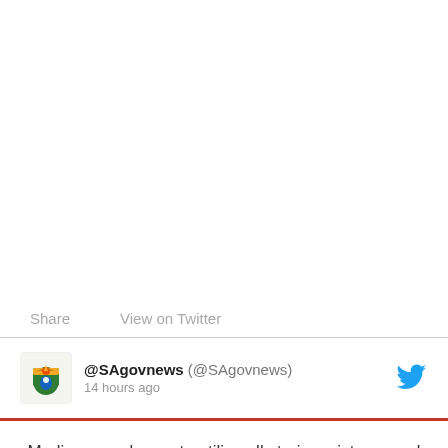Share   View on Twitter
@SAgovnews (@SAgovnews)
14 hours ago
Media are welcome to utilise all stories, pictures and other material on this site as well as from our Facebook and Twitter accounts, at no cost.